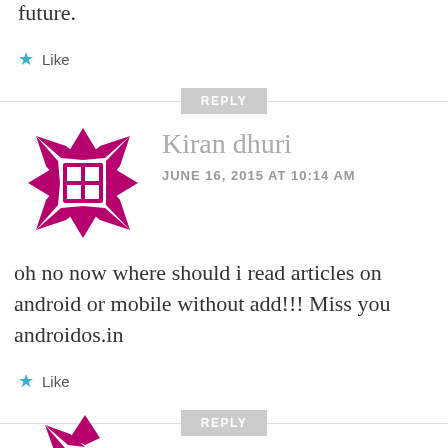future.
★ Like
REPLY
[Figure (illustration): Purple decorative geometric snowflake/quilt pattern avatar icon for user Kiran dhuri]
Kiran dhuri
JUNE 16, 2015 AT 10:14 AM
oh no now where should i read articles on android or mobile without add!!! Miss you androidos.in
★ Like
REPLY
[Figure (illustration): Partial view of another user avatar at bottom of page]